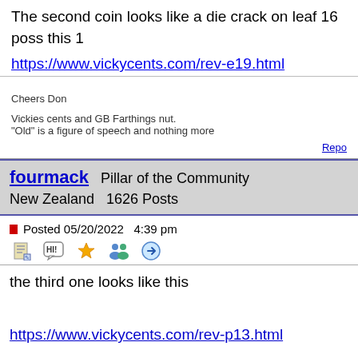The second coin looks like a die crack on leaf 16 poss this 1
https://www.vickycents.com/rev-e19.html
Cheers Don

Vickies cents and GB Farthings nut.
"Old" is a figure of speech and nothing more
Repo
fourmack  Pillar of the Community
New Zealand   1626 Posts
Posted 05/20/2022  4:39 pm
the third one looks like this

https://www.vickycents.com/rev-p13.html